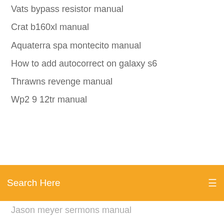Vats bypass resistor manual
Crat b160xl manual
Aquaterra spa montecito manual
How to add autocorrect on galaxy s6
Thrawns revenge manual
Wp2 9 12tr manual
Search Here
Jason meyer sermons manual
Introductory econometrics for finance 3rd edition pdf
Radiata stories guide manual
Akribos watches prices manual
2016 dodge grand caravan service manual
Gear iconx manual
Zenwatch 2 app manual
Mcfarlane incite 5000 manual
How to reset alcatel one touch fierce xl
Wwc wrestling 2014 manual
Period repair manual